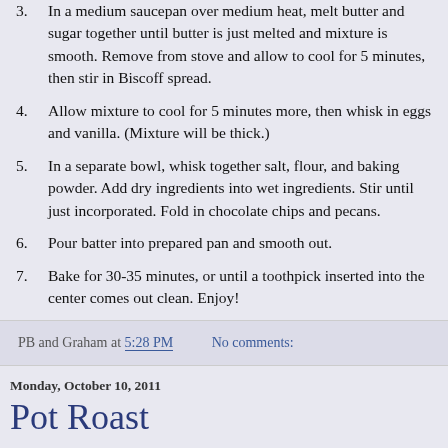2. In a medium saucepan over medium heat, melt butter and sugar together until butter is just melted and mixture is smooth. Remove from stove and allow to cool for 5 minutes, then stir in Biscoff spread.
3. Allow mixture to cool for 5 minutes more, then whisk in eggs and vanilla. (Mixture will be thick.)
4. In a separate bowl, whisk together salt, flour, and baking powder. Add dry ingredients into wet ingredients. Stir until just incorporated. Fold in chocolate chips and pecans.
5. Pour batter into prepared pan and smooth out.
6. Bake for 30-35 minutes, or until a toothpick inserted into the center comes out clean. Enjoy!
PB and Graham at 5:28 PM   No comments:
Monday, October 10, 2011
Pot Roast
I know I've made pot roast before and blogged about it. But I tried a new recipe recently and fell in love with the dish. I'm a fan of all